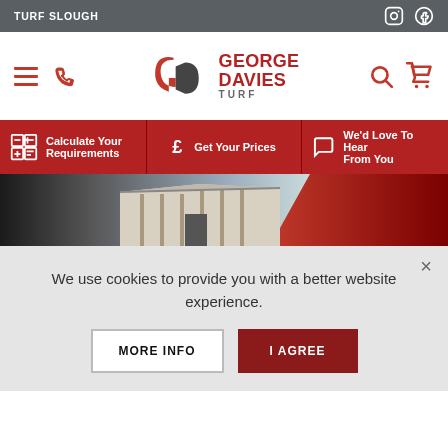TURF SLOUGH
[Figure (logo): George Davies Turf logo with stylized GD monogram in red and grey]
Calculate Your Requirements
Get Your Prices
We'd Love To Hear From You
[Figure (photo): Photo of a warehouse/building exterior with red panel on right side]
We use cookies to provide you with a better website experience.
MORE INFO
I AGREE